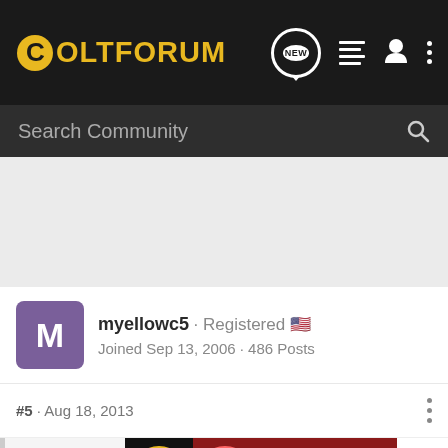ColtForum
Search Community
myellowc5 · Registered · Joined Sep 13, 2006 · 486 Posts
#5 · Aug 18, 2013
[Figure (screenshot): Bass Pro Shops Bargain Cave Hunting Clearance advertisement banner with Shop Now button]
Sciont... Looks ...about